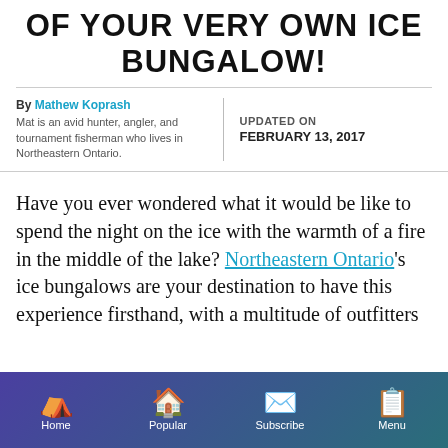OF YOUR VERY OWN ICE BUNGALOW!
By Mathew Koprash
Mat is an avid hunter, angler, and tournament fisherman who lives in Northeastern Ontario.

UPDATED ON
FEBRUARY 13, 2017
Have you ever wondered what it would be like to spend the night on the ice with the warmth of a fire in the middle of the lake? Northeastern Ontario's ice bungalows are your destination to have this experience firsthand, with a multitude of outfitters
Home | Popular | Subscribe | Menu